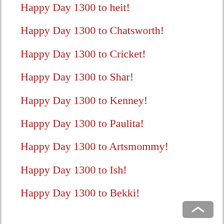Happy Day 1300 to heit!
Happy Day 1300 to Chatsworth!
Happy Day 1300 to Cricket!
Happy Day 1300 to Shar!
Happy Day 1300 to Kenney!
Happy Day 1300 to Paulita!
Happy Day 1300 to Artsmommy!
Happy Day 1300 to Ish!
Happy Day 1300 to Bekki!